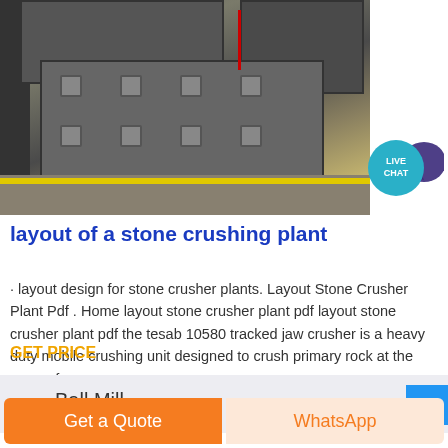[Figure (photo): Industrial stone crushing machinery in a factory setting, with heavy metal equipment and yellow floor markings]
layout of a stone crushing plant
· layout design for stone crusher plants. Layout Stone Crusher Plant Pdf . Home layout stone crusher plant pdf layout stone crusher plant pdf the tesab 10580 tracked jaw crusher is a heavy duty mobile crushing unit designed to crush primary rock at the quarry face…
GET PRICE
Ball Mill
Get a Quote   WhatsApp